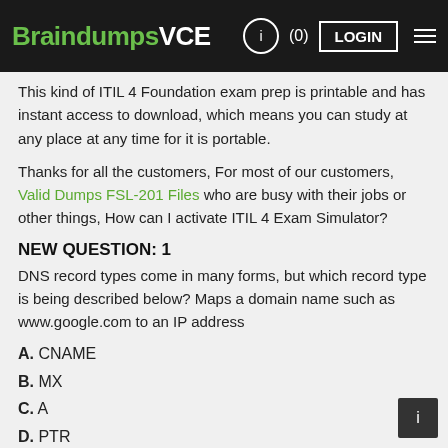BraindumpsVCE
This kind of ITIL 4 Foundation exam prep is printable and has instant access to download, which means you can study at any place at any time for it is portable.
Thanks for all the customers, For most of our customers, Valid Dumps FSL-201 Files who are busy with their jobs or other things, How can I activate ITIL 4 Exam Simulator?
NEW QUESTION: 1
DNS record types come in many forms, but which record type is being described below? Maps a domain name such as www.google.com to an IP address
A. CNAME
B. MX
C. A
D. PTR
Answer: C
Explanation: